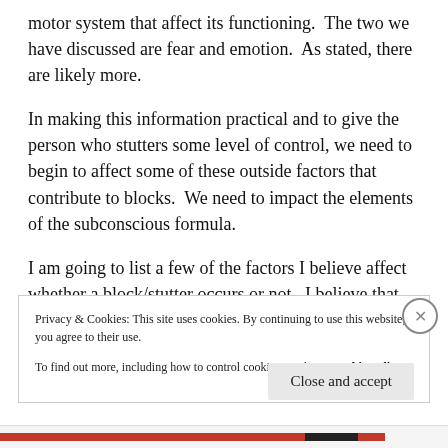motor system that affect its functioning.  The two we have discussed are fear and emotion.  As stated, there are likely more.
In making this information practical and to give the person who stutters some level of control, we need to begin to affect some of these outside factors that contribute to blocks.  We need to impact the elements of the subconscious formula.
I am going to list a few of the factors I believe affect whether a block/stutter occurs or not.  I believe that
Privacy & Cookies: This site uses cookies. By continuing to use this website, you agree to their use.
To find out more, including how to control cookies, see here: Cookie Policy
Close and accept